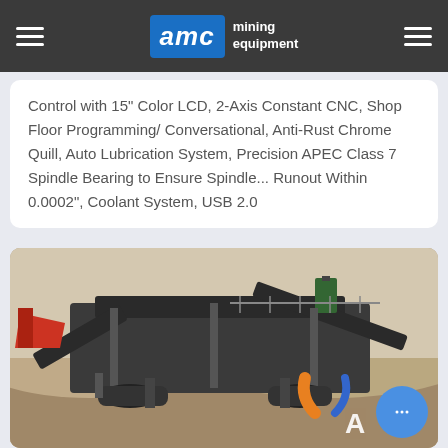AMC mining equipment
Control with 15" Color LCD, 2-Axis Constant CNC, Shop Floor Programming/ Conversational, Anti-Rust Chrome Quill, Auto Lubrication System, Precision APEC Class 7 Spindle Bearing to Ensure Spindle... Runout Within 0.0002", Coolant System, USB 2.0
[Figure (photo): Outdoor photo of a large mobile mining/crushing equipment (jaw crusher or screener) on a gravel site, with AMC logo partially visible at bottom right. A chat bubble icon overlays the bottom right corner.]